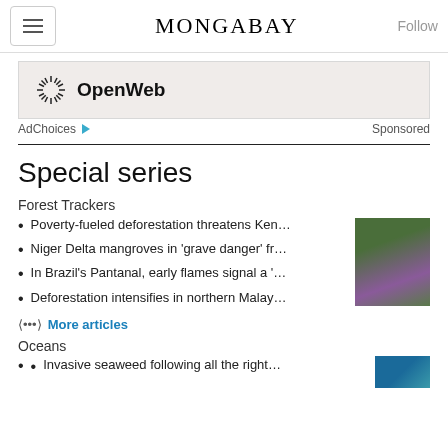MONGABAY
[Figure (logo): OpenWeb logo with starburst icon and text 'OpenWeb']
AdChoices ▷   Sponsored
Special series
Forest Trackers
Poverty-fueled deforestation threatens Ken…
Niger Delta mangroves in 'grave danger' fr…
In Brazil's Pantanal, early flames signal a '…
Deforestation intensifies in northern Malay…
[Figure (photo): Aerial photo of forested area with purple/green vegetation]
⟨•••⟩ More articles
Oceans